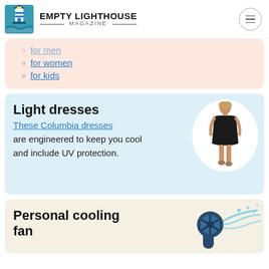Empty Lighthouse Magazine
for men
for women
for kids
Light dresses
These Columbia dresses are engineered to keep you cool and include UV protection.
[Figure (photo): Woman wearing a black sleeveless dress]
Personal cooling fan
[Figure (photo): Personal handheld misting fan with blue mist spray]